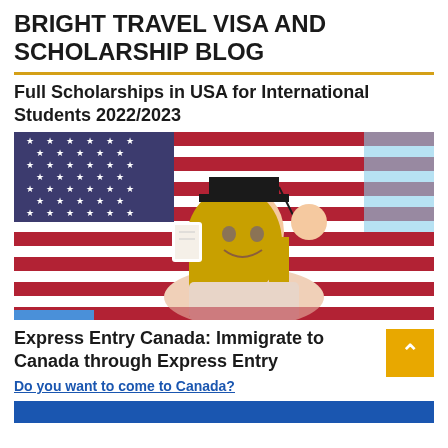BRIGHT TRAVEL VISA AND SCHOLARSHIP BLOG
Full Scholarships in USA for International Students 2022/2023
[Figure (photo): Young blonde woman in graduation cap holding a diploma and raising her fist in celebration, standing in front of a large American flag]
Express Entry Canada: Immigrate to Canada through Express Entry
Do you want to come to Canada?
[Figure (photo): Partial blue image at the bottom of the page]